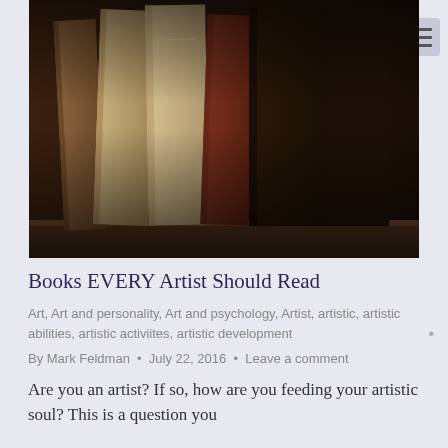[Figure (photo): Close-up photograph of old, worn antique books standing upright on a wooden shelf, with aged and tattered spines in warm brown tones]
Books EVERY Artist Should Read
Art, Art and personality, Art and psychology, Artist, artistic, artistic abilities, artistic activiites, artistic development
By Mark Feldman • July 22, 2016 • Leave a comment
Are you an artist? If so, how are you feeding your artistic soul? This is a question you